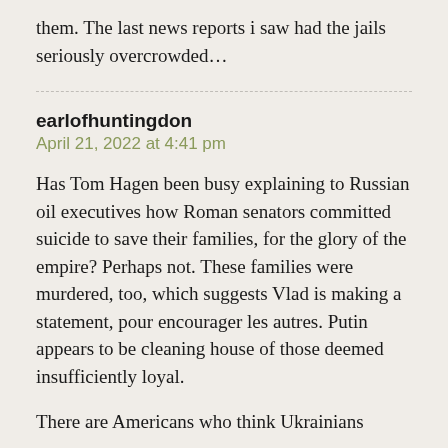them. The last news reports i saw had the jails seriously overcrowded…
earlofhuntingdon
April 21, 2022 at 4:41 pm
Has Tom Hagen been busy explaining to Russian oil executives how Roman senators committed suicide to save their families, for the glory of the empire? Perhaps not. These families were murdered, too, which suggests Vlad is making a statement, pour encourager les autres. Putin appears to be cleaning house of those deemed insufficiently loyal.
There are Americans who think Ukrainians should be ignored because to Putin is the…